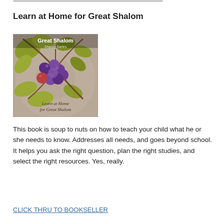Learn at Home for Great Shalom
[Figure (illustration): Book cover of 'Learn at Home for Great Shalom' by Sharon Sarles, featuring purple grapes and green leaves on a warm beige/taupe background with decorative script text.]
This book is soup to nuts on how to teach your child what he or she needs to know. Addresses all needs, and goes beyond school. It helps you ask the right question, plan the right studies, and select the right resources. Yes, really.
CLICK THRU TO BOOKSELLER